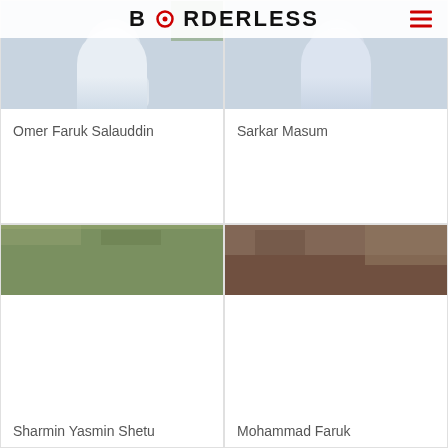BORDERLESS
[Figure (photo): Portrait photo of Omer Faruk Salauddin]
Omer Faruk Salauddin
[Figure (photo): Portrait photo of Sarkar Masum]
Sarkar Masum
[Figure (photo): Outdoor photo for Sharmin Yasmin Shetu]
Sharmin Yasmin Shetu
[Figure (photo): Outdoor photo for Mohammad Faruk]
Mohammad Faruk